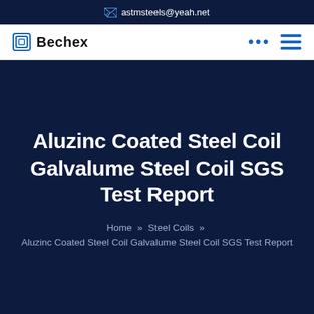✉ astmsteels@yeah.net
Bechex
Aluzinc Coated Steel Coil Galvalume Steel Coil SGS Test Report
Home » Steel Coils » Aluzinc Coated Steel Coil Galvalume Steel Coil SGS Test Report